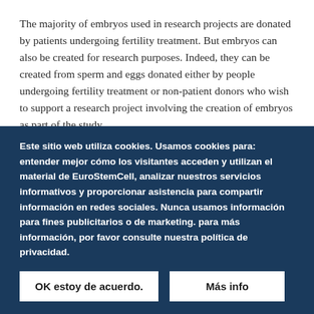The majority of embryos used in research projects are donated by patients undergoing fertility treatment. But embryos can also be created for research purposes. Indeed, they can be created from sperm and eggs donated either by people undergoing fertility treatment or non-patient donors who wish to support a research project involving the creation of embryos as part of the study.
Este sitio web utiliza cookies. Usamos cookies para: entender mejor cómo los visitantes acceden y utilizan el material de EuroStemCell, analizar nuestros servicios informativos y proporcionar asistencia para compartir información en redes sociales. Nunca usamos información para fines publicitarios o de marketing. para más información, por favor consulte nuestra política de privacidad.
OK estoy de acuerdo.
Más info